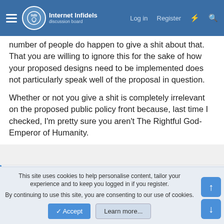Internet Infidels | Log in | Register
number of people do happen to give a shit about that. That you are willing to ignore this for the sake of how your proposed designs need to be implemented does not particularly speak well of the proposal in question.

Whether or not you give a shit is completely irrelevant on the proposed public policy front because, last time I checked, I'm pretty sure you aren't The Rightful God-Emperor of Humanity.
👍 Emily Lake
Jarhyn
Wizard
Joined: Mar 29, 2010
Messages: 11,057
Gender: Androgyne; they/them
Basic Beliefs: Natural Philosophy; Some Theoretic...
This site uses cookies to help personalise content, tailor your experience and to keep you logged in if you register.
By continuing to use this site, you are consenting to our use of cookies.